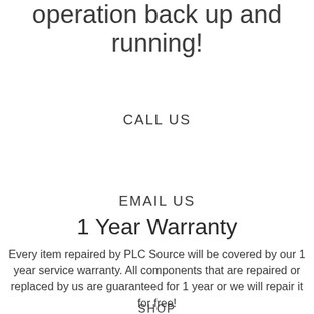operation back up and running!
CALL US
EMAIL US
1 Year Warranty
Every item repaired by PLC Source will be covered by our 1 year service warranty. All components that are repaired or replaced by us are guaranteed for 1 year or we will repair it for free!
SHOP